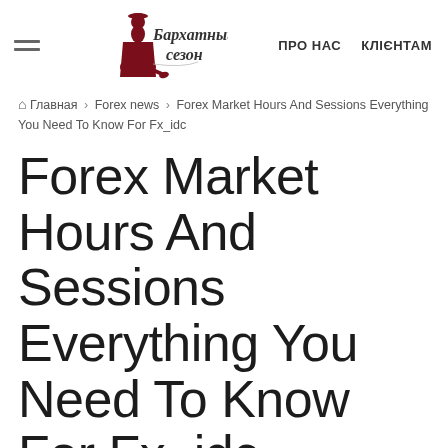ПРО НАС  КЛІЄНТАМ
🏠 Главная › Forex news › Forex Market Hours And Sessions Everything You Need To Know For Fx_idc
Forex Market Hours And Sessions Everything You Need To Know For Fx_idc
[Figure (logo): LeTechs logo with number bar showing 1 2 3 4 5 6 7 8 9 10 11 12 13 14 15 16 17 18 19 20 21 22 23 0]